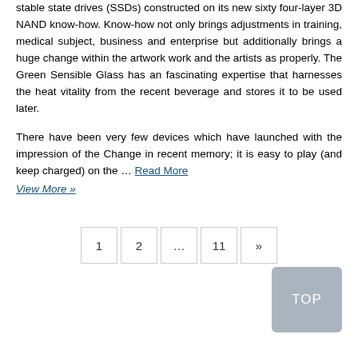stable state drives (SSDs) constructed on its new sixty four-layer 3D NAND know-how. Know-how not only brings adjustments in training, medical subject, business and enterprise but additionally brings a huge change within the artwork work and the artists as properly. The Green Sensible Glass has an fascinating expertise that harnesses the heat vitality from the recent beverage and stores it to be used later.
There have been very few devices which have launched with the impression of the Change in recent memory; it is easy to play (and keep charged) on the … Read More
View More »
1  2  ...  11  »
TOP